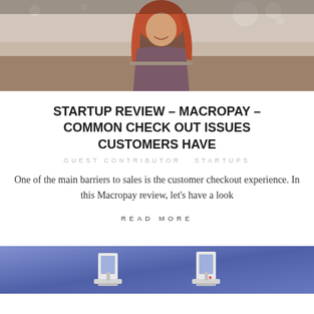[Figure (photo): Woman with red hair smiling, working on a laptop in a café setting]
STARTUP REVIEW – MACROPAY – COMMON CHECK OUT ISSUES CUSTOMERS HAVE
GUEST CONTRIBUTOR   STARTUPS
One of the main barriers to sales is the customer checkout experience. In this Macropay review, let's have a look
READ MORE
[Figure (photo): Blue background with white kiosk/payment terminal figurines]